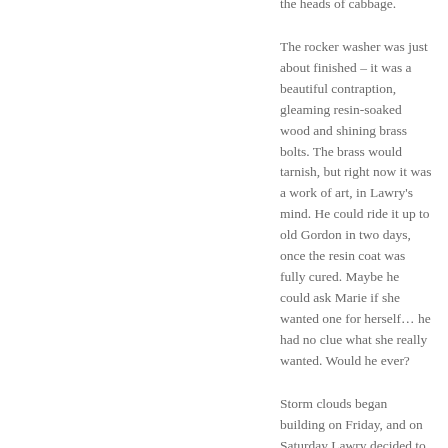the heads of cabbage.
The rocker washer was just about finished – it was a beautiful contraption, gleaming resin-soaked wood and shining brass bolts. The brass would tarnish, but right now it was a work of art, in Lawry's mind. He could ride it up to old Gordon in two days, once the resin coat was fully cured. Maybe he could ask Marie if she wanted one for herself… he had no clue what she really wanted. Would he ever?
Storm clouds began building on Friday, and on Saturday Lawry decided to get the washer up to the cemetery before the weather broke. At first light, he loaded the washer on the cart and tied it securely. It might be slow moving up the lightly-travelled path so as not to wreck all his hard work. It was close to noon when he finally pulled into the cemetery. The sky was black